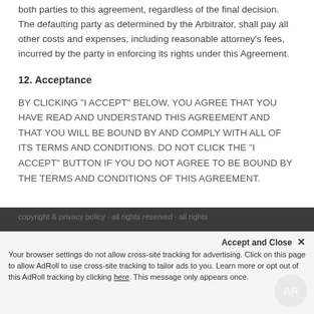both parties to this agreement, regardless of the final decision. The defaulting party as determined by the Arbitrator, shall pay all other costs and expenses, including reasonable attorney's fees, incurred by the party in enforcing its rights under this Agreement.
12. Acceptance
BY CLICKING "I ACCEPT" BELOW, YOU AGREE THAT YOU HAVE READ AND UNDERSTAND THIS AGREEMENT AND THAT YOU WILL BE BOUND BY AND COMPLY WITH ALL OF ITS TERMS AND CONDITIONS. DO NOT CLICK THE "I ACCEPT" BUTTON IF YOU DO NOT AGREE TO BE BOUND BY THE TERMS AND CONDITIONS OF THIS AGREEMENT.
Accept and Close ×
Your browser settings do not allow cross-site tracking for advertising. Click on this page to allow AdRoll to use cross-site tracking to tailor ads to you. Learn more or opt out of this AdRoll tracking by clicking here. This message only appears once.